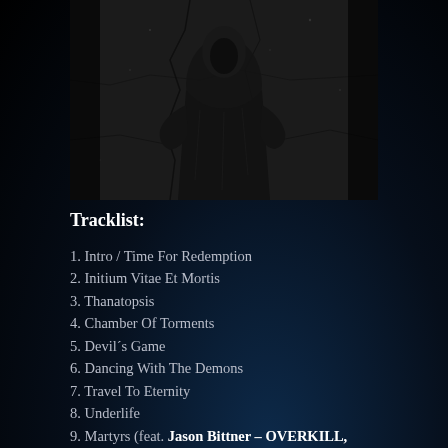[Figure (photo): Black and white photo of a dark stone figure or statue in robes, cracked texture background, gothic/metal album artwork]
Tracklist:
1. Intro / Time For Redemption
2. Initium Vitae Et Mortis
3. Thanatopsis
4. Chamber Of Torments
5. Devil´s Game
6. Dancing With The Demons
7. Travel To Eternity
8. Underlife
9. Martyrs (feat. Jason Bittner – OVERKILL, ex-FLOTSAM & JETSAM)
10. Lament Of The S...